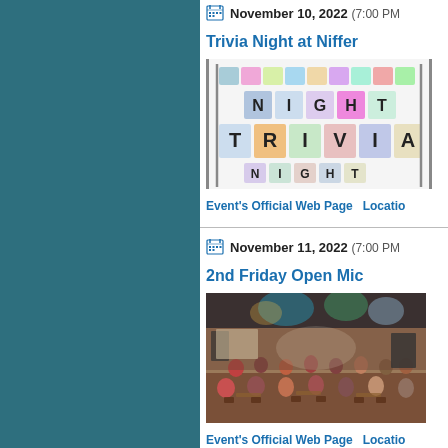November 10, 2022 (7:00 PM
Trivia Night at Niffer
[Figure (photo): Trivia Night promotional graphic with colorful letter tiles spelling NIGHT TRIVIA NIGHT]
Event's Official Web Page    Location
November 11, 2022 (7:00 PM
2nd Friday Open Mic
[Figure (photo): Indoor venue with audience seated watching a stage with colorful stage lighting]
Event's Official Web Page    Location